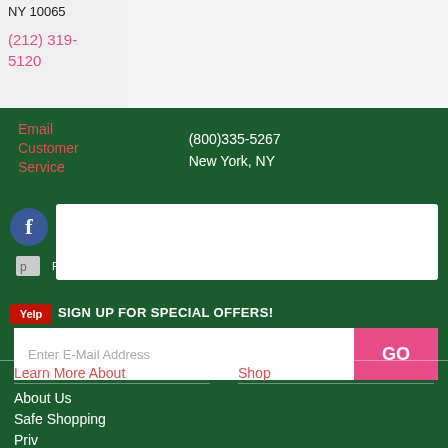NY 10065
(212) 319-5120
Email Customer Service
(800)335-5267
New York, NY
SIGN UP FOR SPECIAL OFFERS!
Enter E-Mail Address
GO
Learn More About
Shop
About Us
Safe Shopping
Privacy